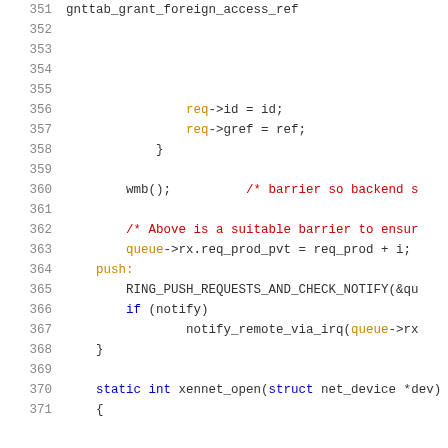[Figure (screenshot): Source code listing lines 351-371 of a C kernel/driver file showing network ring buffer operations including gnttab_grant_foreign_access_ref, req->id, req->gref assignments, wmb() barrier, comment about barrier, queue rx req_prod_pvt update, push label, RING_PUSH_REQUESTS_AND_CHECK_NOTIFY macro, notify_remote_via_irq call, closing brace, and start of xennet_open function]